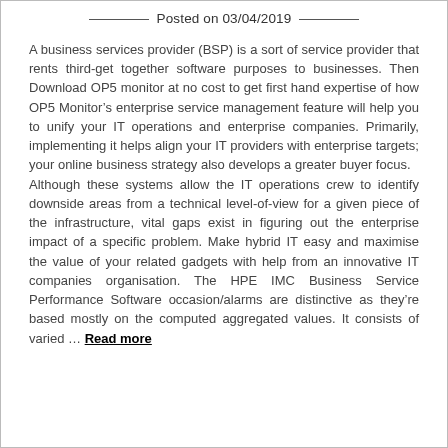Posted on 03/04/2019
A business services provider (BSP) is a sort of service provider that rents third-get together software purposes to businesses. Then Download OP5 monitor at no cost to get first hand expertise of how OP5 Monitor’s enterprise service management feature will help you to unify your IT operations and enterprise companies. Primarily, implementing it helps align your IT providers with enterprise targets; your online business strategy also develops a greater buyer focus.
Although these systems allow the IT operations crew to identify downside areas from a technical level-of-view for a given piece of the infrastructure, vital gaps exist in figuring out the enterprise impact of a specific problem. Make hybrid IT easy and maximise the value of your related gadgets with help from an innovative IT companies organisation. The HPE IMC Business Service Performance Software occasion/alarms are distinctive as they’re based mostly on the computed aggregated values. It consists of varied ... Read more